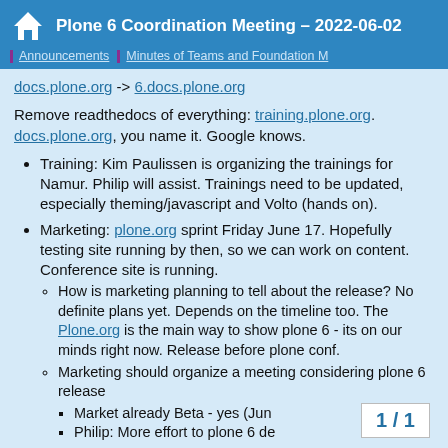Plone 6 Coordination Meeting – 2022-06-02 | Announcements | Minutes of Teams and Foundation M
docs.plone.org -> 6.docs.plone.org
Remove readthedocs of everything: training.plone.org. docs.plone.org, you name it. Google knows.
Training: Kim Paulissen is organizing the trainings for Namur. Philip will assist. Trainings need to be updated, especially theming/javascript and Volto (hands on).
Marketing: plone.org sprint Friday June 17. Hopefully testing site running by then, so we can work on content. Conference site is running.
How is marketing planning to tell about the release? No definite plans yet. Depends on the timeline too. The Plone.org is the main way to show plone 6 - its on our minds right now. Release before plone conf.
Marketing should organize a meeting considering plone 6 release
Market already Beta - yes (Jun
Philip: More effort to plone 6 de